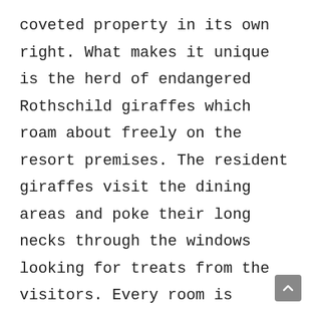coveted property in its own right. What makes it unique is the herd of endangered Rothschild giraffes which roam about freely on the resort premises. The resident giraffes visit the dining areas and poke their long necks through the windows looking for treats from the visitors. Every room is stocked with food for the long-necked giants.

The 12 acres iconic property is one of the most Instagrammed properties in the world. The Manor has 12 luxury suites and